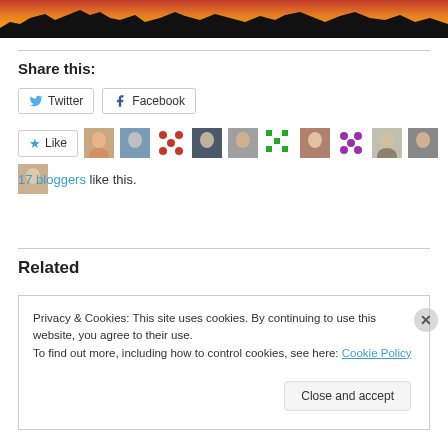[Figure (photo): Sunset photo showing silhouetted treeline against orange sky]
Share this:
[Figure (screenshot): Twitter and Facebook share buttons]
[Figure (screenshot): Like button with 11 blogger avatars]
17 bloggers like this.
Related
Privacy & Cookies: This site uses cookies. By continuing to use this website, you agree to their use. To find out more, including how to control cookies, see here: Cookie Policy